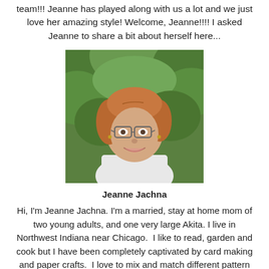team!!! Jeanne has played along with us a lot and we just love her amazing style! Welcome, Jeanne!!!! I asked Jeanne to share a bit about herself here...
[Figure (photo): Portrait photograph of Jeanne Jachna, a woman with short reddish-brown hair wearing glasses and a white collared shirt, smiling, with green foliage in the background.]
Jeanne Jachna
Hi, I'm Jeanne Jachna. I'm a married, stay at home mom of two young adults, and one very large Akita. I live in Northwest Indiana near Chicago.  I like to read, garden and cook but I have been completely captivated by card making and paper crafts.  I love to mix and match different pattern papers and can't resist bright colors. My time crafting is a